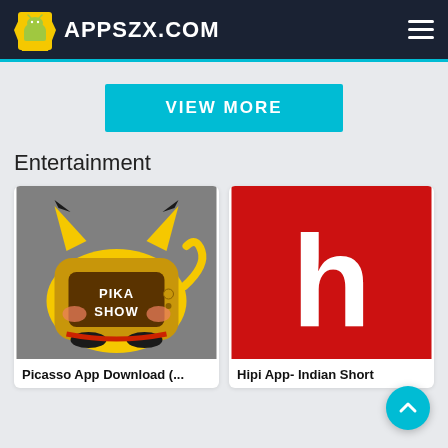APPSZX.COM
VIEW MORE
Entertainment
[Figure (illustration): Picasso/PikaShow app icon showing a Pikachu-themed TV character with 'PIKA SHOW' text on a yellow and brown background]
Picasso App Download (...
[Figure (logo): Hipi app icon showing a white lowercase 'h' letter on a red rounded square background]
Hipi App- Indian Short